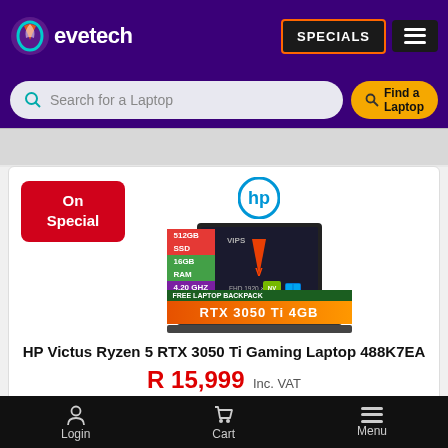evetech — SPECIALS
Search for a Laptop
[Figure (screenshot): HP Victus laptop product image with specs: 512GB SSD, 16GB RAM, 4.20 GHz Ryzen 5, RTX 3050 Ti 4GB, FHD 1920x1080, Free Laptop Backpack. HP logo above laptop.]
HP Victus Ryzen 5 RTX 3050 Ti Gaming Laptop 488K7EA
R 15,999 Inc. VAT
More Info
Login   Cart   Menu